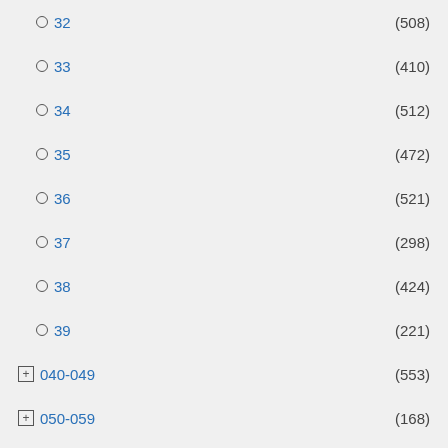32 (508)
33 (410)
34 (512)
35 (472)
36 (521)
37 (298)
38 (424)
39 (221)
040-049 (553)
050-059 (168)
060-069 (68)
070-079 (7)
080-089 (2)
Date of birth